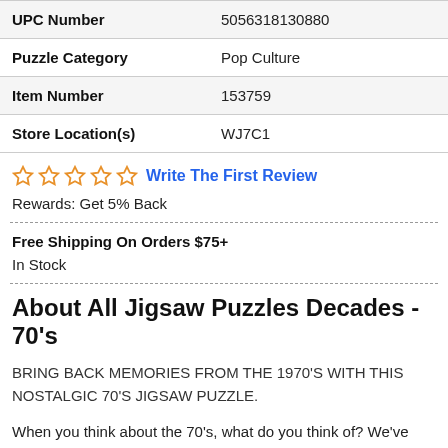| UPC Number | 5056318130880 |
| Puzzle Category | Pop Culture |
| Item Number | 153759 |
| Store Location(s) | WJ7C1 |
☆ ☆ ☆ ☆ ☆ Write The First Review
Rewards: Get 5% Back
Free Shipping On Orders $75+
In Stock
About All Jigsaw Puzzles Decades - 70's
BRING BACK MEMORIES FROM THE 1970'S WITH THIS NOSTALGIC 70'S JIGSAW PUZZLE.
When you think about the 70's, what do you think of? We've created a spectacular 70's collage jigsaw puzzle to bring...